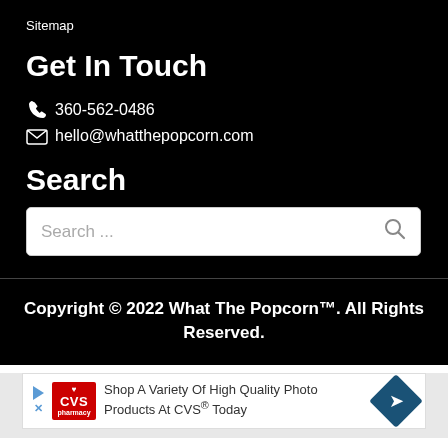Sitemap
Get In Touch
📞 360-562-0486
✉ hello@whatthepopcorn.com
Search
Search ...
Copyright © 2022 What The Popcorn™. All Rights Reserved.
[Figure (infographic): CVS Pharmacy advertisement: Shop A Variety Of High Quality Photo Products At CVS® Today]